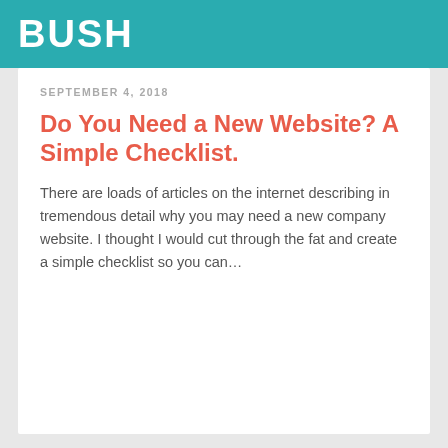BUSH
[Figure (photo): Devices mockup showing tablets and phone displaying web pages against a light grey background]
SEPTEMBER 4, 2018
Do You Need a New Website? A Simple Checklist.
There are loads of articles on the internet describing in tremendous detail why you may need a new company website. I thought I would cut through the fat and create a simple checklist so you can...